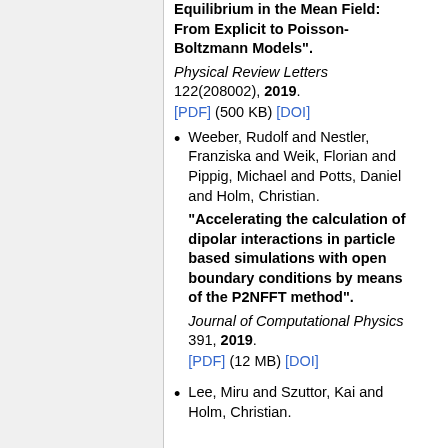Equilibrium in the Mean Field: From Explicit to Poisson-Boltzmann Models". Physical Review Letters 122(208002), 2019. [PDF] (500 KB) [DOI]
Weeber, Rudolf and Nestler, Franziska and Weik, Florian and Pippig, Michael and Potts, Daniel and Holm, Christian. "Accelerating the calculation of dipolar interactions in particle based simulations with open boundary conditions by means of the P2NFFT method". Journal of Computational Physics 391, 2019. [PDF] (12 MB) [DOI]
Lee, Miru and Szuttor, Kai and Holm, Christian.